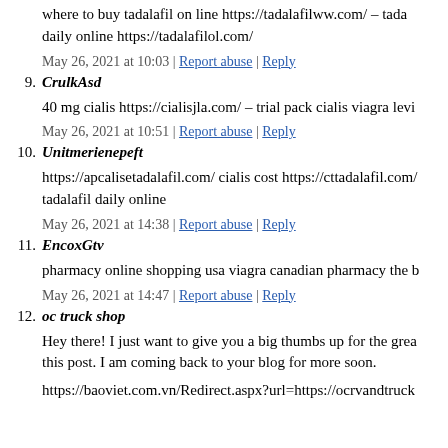where to buy tadalafil on line https://tadalafilww.com/ – tadalafil daily online https://tadalafilol.com/
May 26, 2021 at 10:03 | Report abuse | Reply
9. CrulkAsd
40 mg cialis https://cialisjla.com/ – trial pack cialis viagra levi
May 26, 2021 at 10:51 | Report abuse | Reply
10. Unitmerienepeft
https://apcalisetadalafil.com/ cialis cost https://cttadalafil.com/ tadalafil daily online
May 26, 2021 at 14:38 | Report abuse | Reply
11. EncoxGtv
pharmacy online shopping usa viagra canadian pharmacy the b
May 26, 2021 at 14:47 | Report abuse | Reply
12. oc truck shop
Hey there! I just want to give you a big thumbs up for the grea this post. I am coming back to your blog for more soon.
https://baoviet.com.vn/Redirect.aspx?url=https://ocrvandtruck